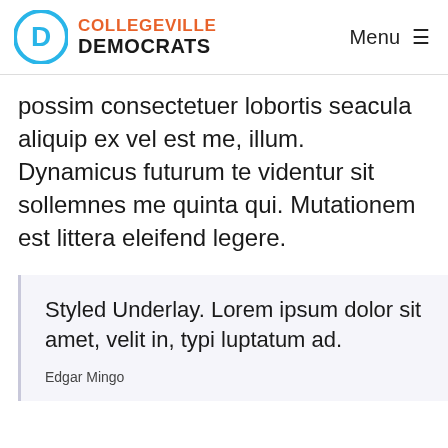COLLEGEVILLE DEMOCRATS | Menu
possim consectetuer lobortis seacula aliquip ex vel est me, illum. Dynamicus futurum te videntur sit sollemnes me quinta qui. Mutationem est littera eleifend legere.
Styled Underlay. Lorem ipsum dolor sit amet, velit in, typi luptatum ad.
Edgar Mingo